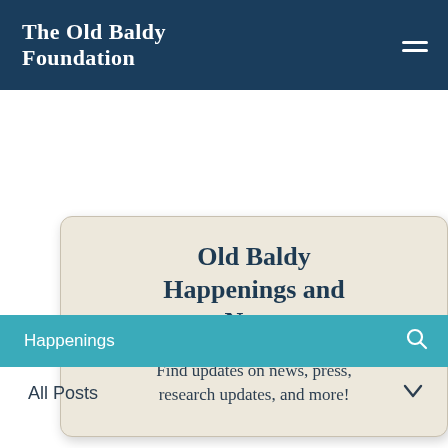The Old Baldy Foundation
Old Baldy Happenings and News
Find updates on news, press, research updates, and more!
Happenings
All Posts